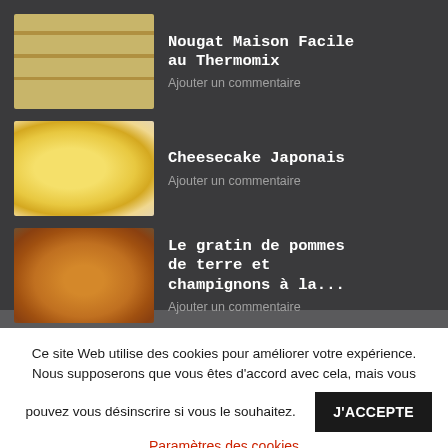Nougat Maison Facile au Thermomix
Ajouter un commentaire
Cheesecake Japonais
Ajouter un commentaire
Le gratin de pommes de terre et champignons à la...
Ajouter un commentaire
Ce site Web utilise des cookies pour améliorer votre expérience. Nous supposerons que vous êtes d'accord avec cela, mais vous pouvez vous désinscrire si vous le souhaitez. J'ACCEPTE
Paramètres des cookies